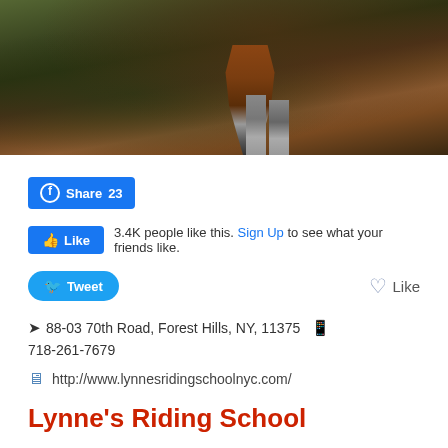[Figure (photo): Photo of horse legs and hooves on a dirt path, with green foliage in the background. Brown horse walking, partially cropped.]
Share 23
Like  3.4K people like this. Sign Up to see what your friends like.
Tweet
Like
88-03 70th Road, Forest Hills, NY, 11375  718-261-7679
http://www.lynnesridingschoolnyc.com/
Lynne's Riding School